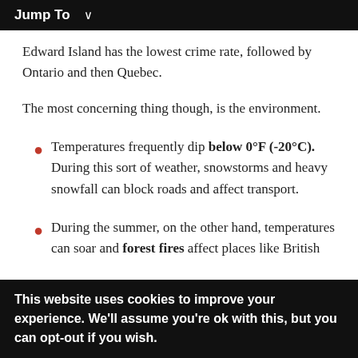Jump To ∨
Edward Island has the lowest crime rate, followed by Ontario and then Quebec.
The most concerning thing though, is the environment.
Temperatures frequently dip below 0°F (-20°C). During this sort of weather, snowstorms and heavy snowfall can block roads and affect transport.
During the summer, on the other hand, temperatures can soar and forest fires affect places like British
This website uses cookies to improve your experience. We'll assume you're ok with this, but you can opt-out if you wish.